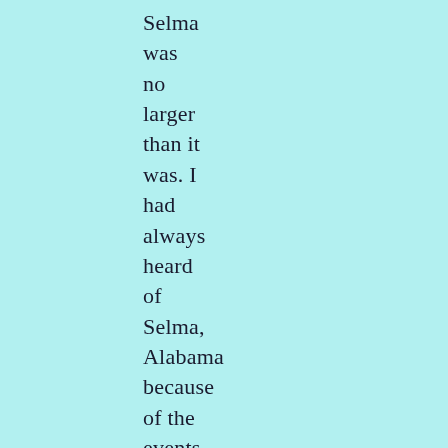Selma was no larger than it was. I had always heard of Selma, Alabama because of the events that occurred there in the 1960s during the Civil Rights Movement.